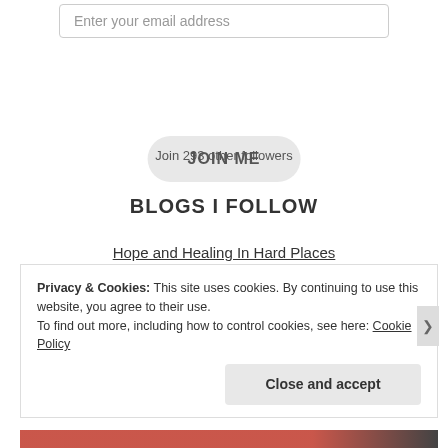Enter your email address
JOIN ME
Join 293 other followers
BLOGS I FOLLOW
Hope and Healing In Hard Places
TwentySomething
Back To Being Sara blog
Your World Of Motivation, Life Stories and News.
Privacy & Cookies: This site uses cookies. By continuing to use this website, you agree to their use.
To find out more, including how to control cookies, see here: Cookie Policy
Close and accept